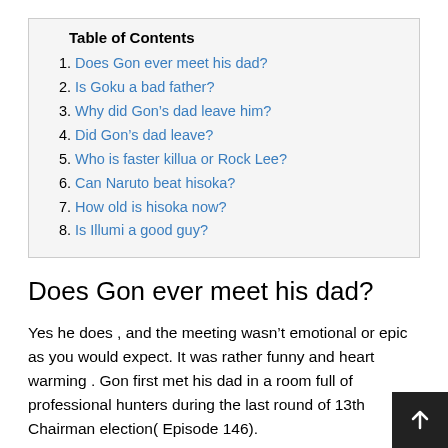Table of Contents
1. Does Gon ever meet his dad?
2. Is Goku a bad father?
3. Why did Gon’s dad leave him?
4. Did Gon’s dad leave?
5. Who is faster killua or Rock Lee?
6. Can Naruto beat hisoka?
7. How old is hisoka now?
8. Is Illumi a good guy?
Does Gon ever meet his dad?
Yes he does , and the meeting wasn’t emotional or epic as you would expect. It was rather funny and heart warming . Gon first met his dad in a room full of professional hunters during the last round of 13th Chairman election( Episode 146).